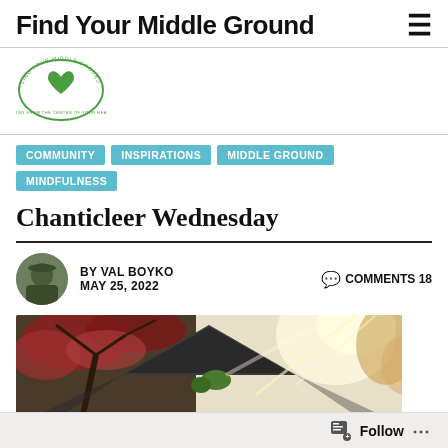Find Your Middle Ground
[Figure (logo): Find Your Middle Ground circular logo with green heart and text]
COMMUNITY
INSPIRATIONS
MIDDLE GROUND
MINDFULNESS
Chanticleer Wednesday
BY VAL BOYKO  MAY 25, 2022  COMMENTS 18
[Figure (photo): Outdoor garden scene with autumn-colored trees and a dark architectural structure roof peak, sunlight visible]